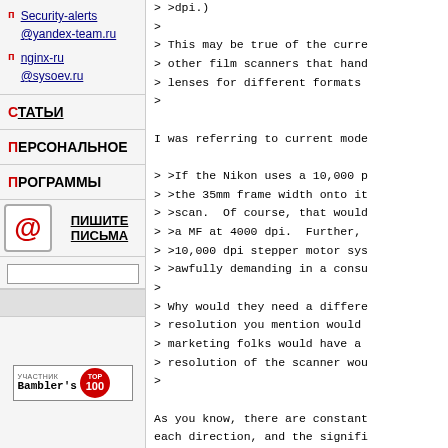Security-alerts @yandex-team.ru
nginx-ru @sysoev.ru
СТАТЬИ
ПЕРСОНАЛЬНОЕ
ПРОГРАММЫ
ПИШИТЕ ПИСЬМА
> >dpi.)
>
> This may be true of the curre
> other film scanners that hand
> lenses for different formats
>
I was referring to current mode

> >If the Nikon uses a 10,000 p
> >the 35mm frame width onto it
> >scan.  Of course, that would
> >a MF at 4000 dpi.  Further,
> >10,000 dpi stepper motor sys
> >awfully demanding in a consu
>
> Why would they need a differe
> resolution you mention would
> marketing folks would have a
> resolution of the scanner wou
>

As you know, there are constant
each direction, and the signifi
one direction at 10,000 ppi and
would be howls of protest calli

Art
[Figure (logo): Bambler TOP 100 badge - участник рейтинга]